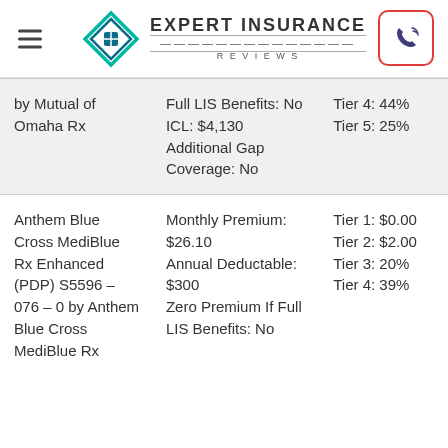Expert Insurance Reviews
| Plan | Plan Details | Cost by Tier |
| --- | --- | --- |
| by Mutual of Omaha Rx | Full LIS Benefits: No
ICL: $4,130
Additional Gap Coverage: No | Tier 4: 44%
Tier 5: 25% |
| Anthem Blue Cross MediBlue Rx Enhanced (PDP) S5596 – 076 – 0 by Anthem Blue Cross MediBlue Rx | Monthly Premium: $26.10
Annual Deductable: $300
Zero Premium If Full LIS Benefits: No | Tier 1: $0.00
Tier 2: $2.00
Tier 3: 20%
Tier 4: 39% |